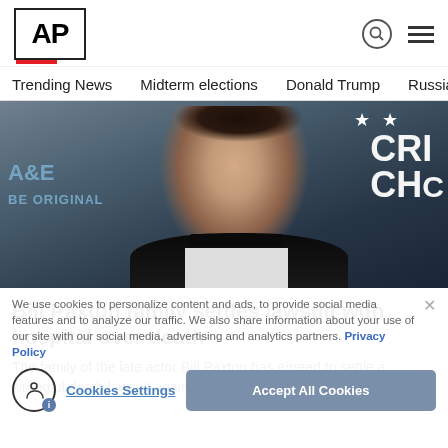AP
Trending News
Midterm elections
Donald Trump
Russia-Ukr
[Figure (photo): Bill Paxton in a tuxedo at a Critics Choice event, with A&E BE ORIGINAL branding on the left and CRI CHO text/stars on the right, dark blue background]
Bill Paxton family settles lawsuit with hospital over death
The family of the late actor Bill Paxton has agreed to settle a wrongful death lawsuit against a Los Angeles hospital and the...
We use cookies to personalize content and ads, to provide social media features and to analyze our traffic. We also share information about your use of our site with our social media, advertising and analytics partners. Privacy Policy
Cookies Settings   Accept All Cookies